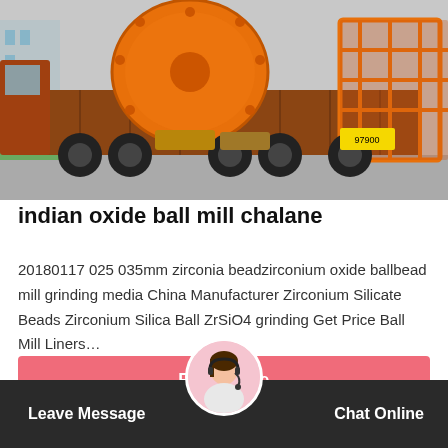[Figure (photo): Large orange industrial ball mill loaded on a flatbed truck, being transported on a road. The truck is red/brown and has a yellow license plate reading 97900. Orange cylindrical grinding mill prominently visible on the trailer.]
indian oxide ball mill chalane
20180117 025 035mm zirconia beadzirconium oxide ballbead mill grinding media China Manufacturer Zirconium Silicate Beads Zirconium Silica Ball ZrSiO4 grinding Get Price Ball Mill Liners…
Read More
Leave Message   Chat Online